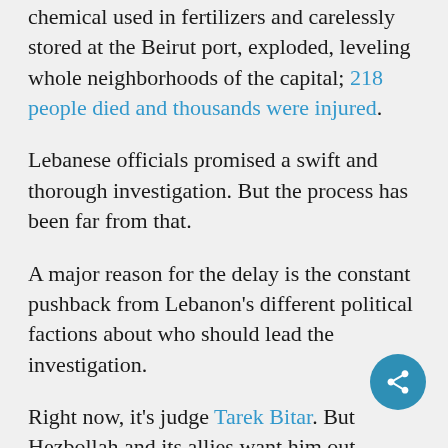chemical used in fertilizers and carelessly stored at the Beirut port, exploded, leveling whole neighborhoods of the capital; 218 people died and thousands were injured.
Lebanese officials promised a swift and thorough investigation. But the process has been far from that.
A major reason for the delay is the constant pushback from Lebanon's different political factions about who should lead the investigation.
Right now, it's judge Tarek Bitar. But Hezbollah and its allies want him out.
“They accuse him of only targeting people from a certain political line, and we’re starting to hear